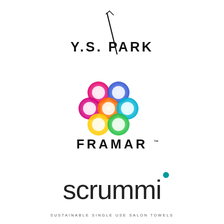[Figure (logo): Y.S. PARK logo — stylized text with a diagonal pen/brush stroke]
[Figure (logo): FRAMAR logo — colorful interconnected rings/circles graphic above the FRAMAR wordmark with trademark symbol]
[Figure (logo): scrummi logo — lowercase rounded letterforms with a teal dot above the i]
SUSTAINABLE SINGLE USE SALON TOWELS